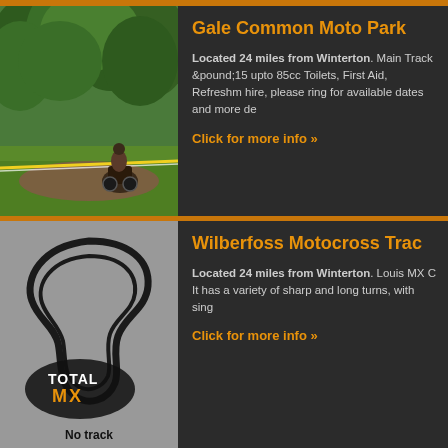Gale Common Moto Park
Located 24 miles from Winterton. Main Track £15 upto 85cc Toilets, First Aid, Refreshments, hire, please ring for available dates and more details.
Click for more info »
[Figure (photo): Motocross rider on dirt track with trees in background, yellow tape boundary visible]
Wilberfoss Motocross Track
Located 24 miles from Winterton. Louis MX Club. It has a variety of sharp and long turns, with single...
Click for more info »
[Figure (logo): Total MX logo with motocross track outline on grey background, No track label at bottom]